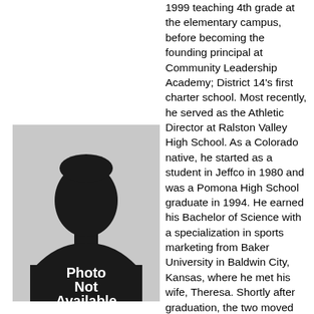1999 teaching 4th grade at the elementary campus, before becoming the founding principal at Community Leadership Academy; District 14's first charter school. Most recently, he served as the Athletic Director at Ralston Valley High School. As a Colorado native, he started as a student in Jeffco in 1980 and was a Pomona High School graduate in 1994. He earned his Bachelor of Science with a specialization in sports marketing from Baker University in Baldwin City, Kansas, where he met his wife, Theresa. Shortly after graduation, the two moved back to Colorado, the greatest state in the country where they have raised three kids, who all attend Jefferson Academy. When not attending high school athletic events, he enjoys golfing, mountain biking, playing flag football and softball
[Figure (photo): Placeholder silhouette photo with text 'Photo Not Available' on a gray and black background]